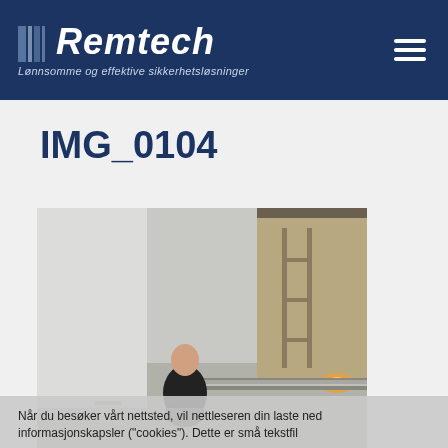Remtech — Lønnsomme og effektive sikkerhetsløsninger
IMG_0104
[Figure (photo): Worker in dark clothing crouching on a concrete floor in an under-construction room. A metal strip/threshold is visible on the right. Construction materials and a light source visible in the background. Photo timestamp: 02/25/2009 10:48.]
Når du besøker vårt nettsted, vil nettleseren din laste ned informasjonskapsler ("cookies"). Dette er små tekstfiler